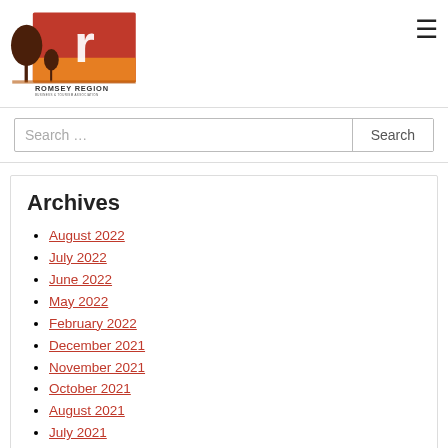[Figure (logo): Romsey Region Business & Tourism Association logo — red block with white 'r', brown tree silhouettes, orange landscape]
≡ (hamburger menu icon)
Search …  [Search button]
Archives
August 2022
July 2022
June 2022
May 2022
February 2022
December 2021
November 2021
October 2021
August 2021
July 2021
June 2021
May 2021